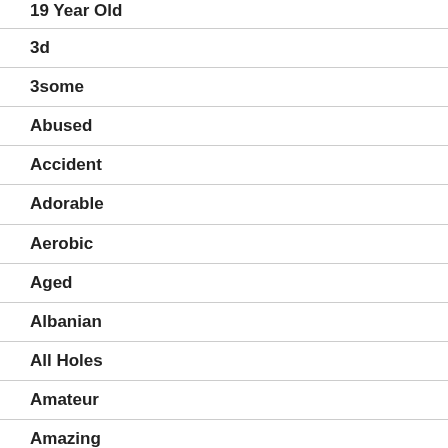19 Year Old
3d
3some
Abused
Accident
Adorable
Aerobic
Aged
Albanian
All Holes
Amateur
Amazing